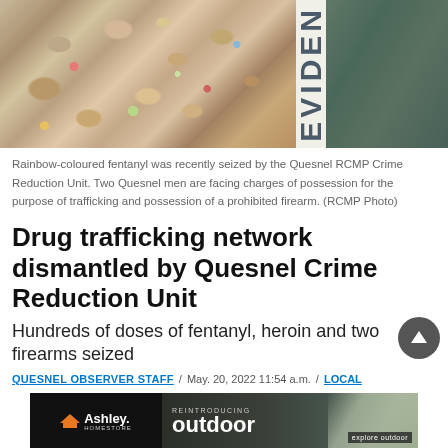[Figure (photo): Rainbow-coloured fentanyl rocks/pills on gravel, with an evidence marker showing 'EVIDEN' text visible, and teal/green surface on right side]
Rainbow-coloured fentanyl was recently seized by the Quesnel RCMP Crime Reduction Unit. Two Quesnel men are facing charges of possession for the purpose of trafficking and possession of a prohibited firearm. (RCMP Photo)
Drug trafficking network dismantled by Quesnel Crime Reduction Unit
Hundreds of doses of fentanyl, heroin and two firearms seized
QUESNEL OBSERVER STAFF / May. 20, 2022 11:54 a.m. / LOCAL
[Figure (photo): Ashley HomeStore advertisement - Reintroducing outdoor furniture collection]